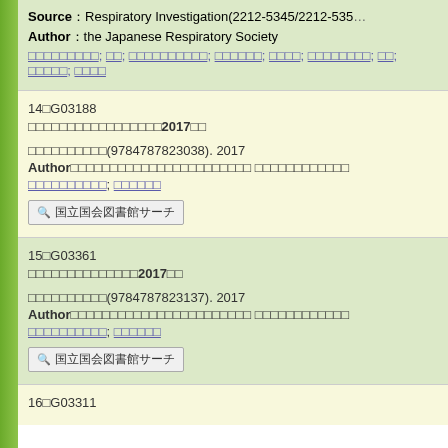Source：Respiratory Investigation(2212-5345/2212-5353…
Author：the Japanese Respiratory Society
□□□□□□□□□; □□; □□□□□□□□□□; □□□□□□; □□□□; □□□□□□□□; □□; □□□□□; □□□□
14□G03188
□□□□□□□□□□□□□□□□□2017□□
□□□□□□□□□□(9784787823038). 2017
Author□□□□□□□□□□□□□□□□□□□□□□□ □□□□□□□□□□□□
□□□□□□□□□□; □□□□□□
国立国会図書館サーチ
15□G03361
□□□□□□□□□□□□□□2017□□
□□□□□□□□□□(9784787823137). 2017
Author□□□□□□□□□□□□□□□□□□□□□□□ □□□□□□□□□□□□
□□□□□□□□□□; □□□□□□
国立国会図書館サーチ
16□G03311